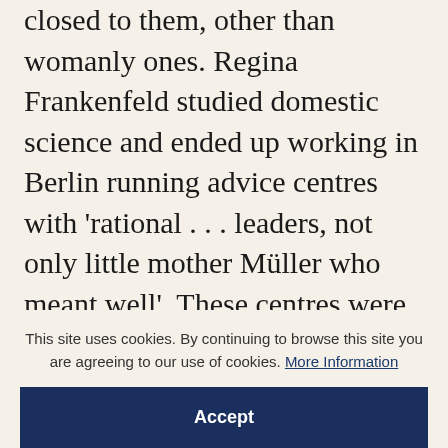closed to them, other than womanly ones. Regina Frankenfeld studied domestic science and ended up working in Berlin running advice centres with 'rational … leaders, not only little mother Müller who meant well'. These centres were the responsibility of the Reichsfrauenführerin, Gertrud Scholtz-Klink, the most senior woman in the Nazi hierarchy and the leader of millions of female members of Nazi organisations. Frankenfeld describes Scholtz-Klink as a 'great idealist' who had nothing to do with the extermination of the Jews, adding frostily that 'politics did not consist
This site uses cookies. By continuing to browse this site you are agreeing to our use of cookies. More Information
Accept